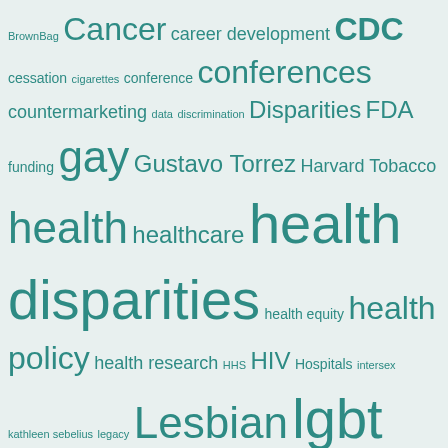[Figure (infographic): Word cloud with health-related terms in various font sizes, all in teal/green color on light background. Larger words indicate higher frequency: lgbt, health disparities, lgbt health, lgbt health research, nih policy funding, Lesbian, health, Cancer, CDC are among the largest. Smaller terms include BrownBag, cigarettes, HHS, intersex, kathleen sebelius, legacy, etc.]